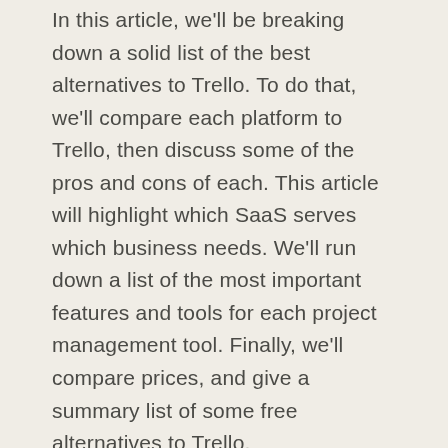In this article, we'll be breaking down a solid list of the best alternatives to Trello. To do that, we'll compare each platform to Trello, then discuss some of the pros and cons of each. This article will highlight which SaaS serves which business needs. We'll run down a list of the most important features and tools for each project management tool. Finally, we'll compare prices, and give a summary list of some free alternatives to Trello.
When it comes to mastering your tasks, subtasks, projects and organizational goals, project management software will give your team an edge. Read on to fast-forward through your project management software research to land